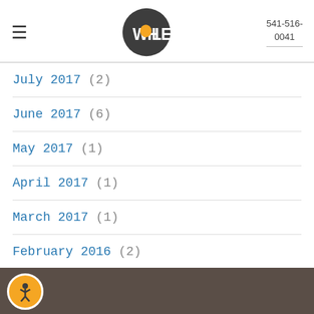WHOLESUM | 541-516-0041
July 2017 (2)
June 2017 (6)
May 2017 (1)
April 2017 (1)
March 2017 (1)
February 2016 (2)
VISIT